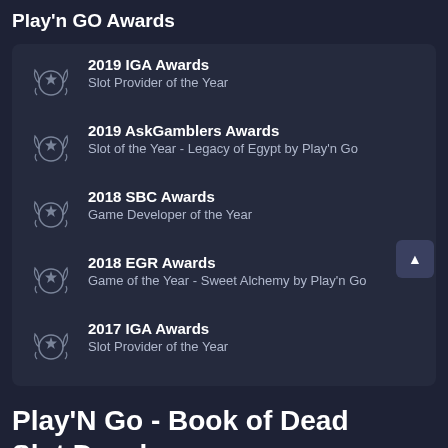Play'n GO Awards
2019 IGA Awards — Slot Provider of the Year
2019 AskGamblers Awards — Slot of the Year - Legacy of Egypt by Play'n Go
2018 SBC Awards — Game Developer of the Year
2018 EGR Awards — Game of the Year - Sweet Alchemy by Play'n Go
2017 IGA Awards — Slot Provider of the Year
Play'N Go - Book of Dead Slot Developer
Swedish company Play'n GO began its operations in 1997, starting off as a contractor for other bigger slot providers.